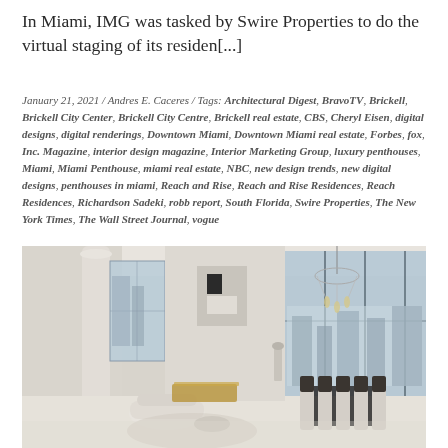In Miami, IMG was tasked by Swire Properties to do the virtual staging of its residen[...]
January 21, 2021 / Andres E. Caceres / Tags: Architectural Digest, BravoTV, Brickell, Brickell City Center, Brickell City Centre, Brickell real estate, CBS, Cheryl Eisen, digital designs, digital renderings, Downtown Miami, Downtown Miami real estate, Forbes, fox, Inc. Magazine, interior design magazine, Interior Marketing Group, luxury penthouses, Miami, Miami Penthouse, miami real estate, NBC, new design trends, new digital designs, penthouses in miami, Reach and Rise, Reach and Rise Residences, Reach Residences, Richardson Sadeki, robb report, South Florida, Swire Properties, The New York Times, The Wall Street Journal, vogue
[Figure (photo): Interior photo of a luxury penthouse showing a modern open-plan living and dining area with floor-to-ceiling windows, a white round sofa, a gold/brass credenza, modern chandelier, dining table with dark chairs, and city/water views.]